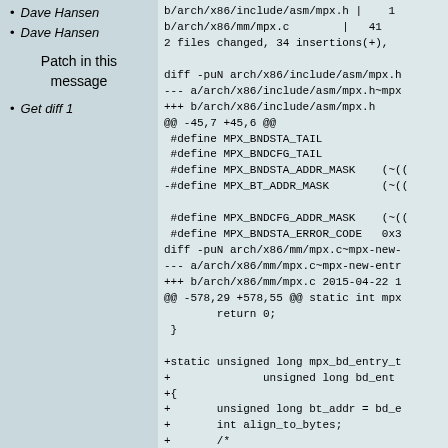Dave Hansen
Dave Hansen
Patch in this message
Get diff 1
b/arch/x86/include/asm/mpx.h |    1
b/arch/x86/mm/mpx.c        |   41
2 files changed, 34 insertions(+),

diff -puN arch/x86/include/asm/mpx.h
--- a/arch/x86/include/asm/mpx.h~mpx
+++ b/arch/x86/include/asm/mpx.h
@@ -45,7 +45,6 @@
 #define MPX_BNDSTA_TAIL
 #define MPX_BNDCFG_TAIL
 #define MPX_BNDSTA_ADDR_MASK    (~((
-#define MPX_BT_ADDR_MASK        (~((

 #define MPX_BNDCFG_ADDR_MASK    (~((
 #define MPX_BNDSTA_ERROR_CODE   0x3
diff -puN arch/x86/mm/mpx.c~mpx-new-
--- a/arch/x86/mm/mpx.c~mpx-new-entr
+++ b/arch/x86/mm/mpx.c 2015-04-22 1
@@ -578,29 +578,55 @@ static int mpx
        return 0;
 }

+static unsigned long mpx_bd_entry_t
+              unsigned long bd_ent
+{
+       unsigned long bt_addr = bd_e
+       int align_to_bytes;
+       /*
+        * Bit 0 in a bt_entry is al
+        */